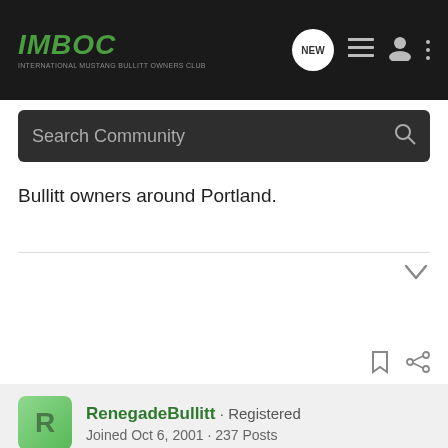IMBOC · International Mustang Bullitt Owners Club
Bullitt owners around Portland.
RenegadeBullitt · Registered
Joined Oct 6, 2001 · 237 Posts
#10 · Nov 9, 2001
Ok, actually this post is the only confirmation I have that someone else besides myself is driving a Bullitt here in Portland